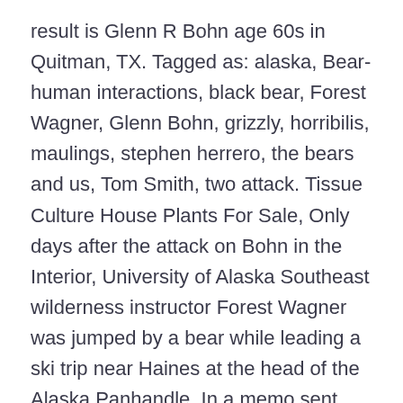result is Glenn R Bohn age 60s in Quitman, TX. Tagged as: alaska, Bear-human interactions, black bear, Forest Wagner, Glenn Bohn, grizzly, horribilis, maulings, stephen herrero, the bears and us, Tom Smith, two attack. Tissue Culture House Plants For Sale, Only days after the attack on Bohn in the Interior, University of Alaska Southeast wilderness instructor Forest Wagner was jumped by a bear while leading a ski trip near Haines at the head of the Alaska Panhandle. In a memo sent last week to members of the Ohio state House, GOP Reps. Jon Cross and Reggie Stoltzfus called on their colleagues to co-sponsor their bill, which looks to declare June 14 -- Trump's birthday -- as "President Donald J. Trump Day.". He kissed bears. It's been a year and a half now. Glenn Bradford, Cody Bohn, Monte Bradford, Kindle Remington and Glen Bohn, and many others are family members and